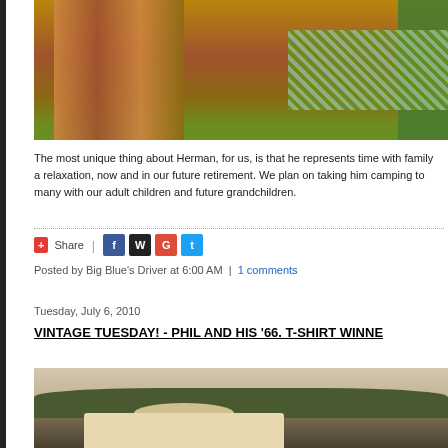[Figure (photo): Interior photo of a vintage camper/RV showing wood paneling, green plaid cushions and seating]
The most unique thing about Herman, for us, is that he represents time with family and relaxation, now and in our future retirement. We plan on taking him camping to many places with our adult children and future grandchildren.
Share | [social share icons: Facebook, WordPress, Google+, Twitter]
Posted by Big Blue's Driver at 6:00 AM  |  1 comments
Tuesday, July 6, 2010
VINTAGE TUESDAY! - PHIL AND HIS '66. T-SHIRT WINNER
[Figure (photo): Vintage sepia-toned photograph of a VW camper van outdoors with trees in the background]